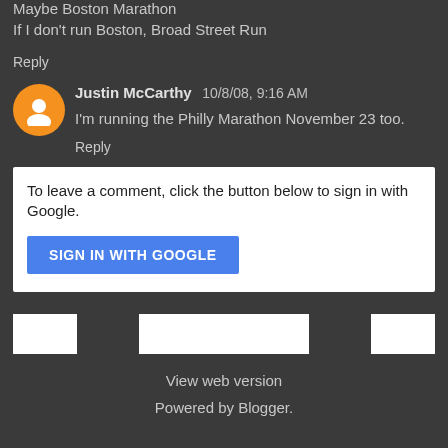Maybe Boston Marathon
If I don't run Boston, Broad Street Run
Reply
Justin McCarthy  10/8/08, 9:16 AM
I'm running the Philly Marathon November 23 too.
Reply
To leave a comment, click the button below to sign in with Google.
SIGN IN WITH GOOGLE
View web version
Powered by Blogger.